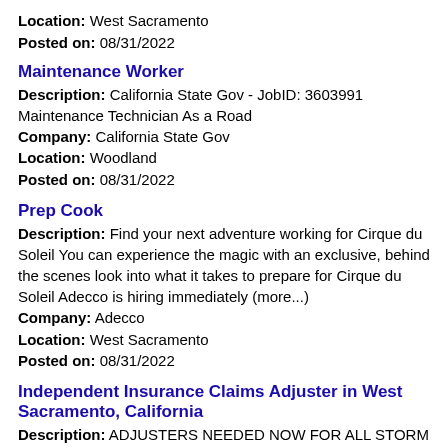Location: West Sacramento
Posted on: 08/31/2022
Maintenance Worker
Description: California State Gov - JobID: 3603991 Maintenance Technician As a Road
Company: California State Gov
Location: Woodland
Posted on: 08/31/2022
Prep Cook
Description: Find your next adventure working for Cirque du Soleil You can experience the magic with an exclusive, behind the scenes look into what it takes to prepare for Cirque du Soleil Adecco is hiring immediately (more...)
Company: Adecco
Location: West Sacramento
Posted on: 08/31/2022
Independent Insurance Claims Adjuster in West Sacramento, California
Description: ADJUSTERS NEEDED NOW FOR ALL STORM RELATED SEASONS Independent Insurance Claims Adjusters Needed Now Each year NOAA makes predictions about how the